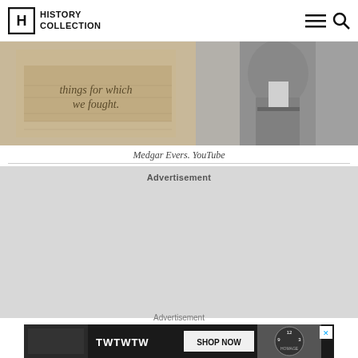HISTORY COLLECTION
[Figure (photo): Historical sepia-toned image showing a figure with text overlay reading 'things for which we fought.' — associated with Medgar Evers]
Medgar Evers. YouTube
Advertisement
Advertisement
[Figure (photo): Bottom advertisement banner with TWTWTW text and SHOP NOW button, showing a watch advertisement for HOMAGE brand]